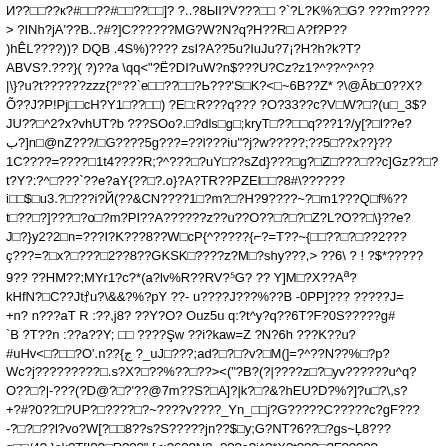И??□□??к?#□□??#□□??□□]? ?..?8ЫI?V???□□ ?`?L?K%?□G? ???m???? > ?INh?jA'??B..?#?]C??????MG?W?N?q?H??R□ A?f?P?? )hÊL????))? DQB .4S%)???? zsI?A??5u?IuJu?7¡?H?h?k?T? ABVS?.???}( ?)??a \qq<"?Ë?DI?uW?n$???U?Cz?z1?^??^?^?? |\}?u?t??????zzz{?°??`e□□??□□?Ь???'S□K?<□~6B??Z* ?\@Āb□0??X? Õ??J?P!Pj□□cH?Y1□??□□) ?E□:R???q??? ?O?33??c?V□W?□?(u□_3$? JU??□^2?x?vhUT?b ???SOo?.□?dls□g□;kryT□??□□q???1?/y[?□l??e? ب?]n□@nZ???/□G????5g???=??l???iu"?j?w?????;??5□??x??}?? 1C????=????□1t4????R;?^???□?uY□??sZd}???□g?□Z□???□??c]Gz??□? t?Y?:?^□???`??e?aY{??□?.o}?A?TR??PZEl□□?8#\?????? i□□$□u3.?□???i?Й(??&CN????1□?m?□?H?9????~?□m1???Q□f%?? t□??□?]???□?o□?m?PI??A??????z??u??O??□?□?□Z?L?O??□\}??e? J□?}y2?2□n=???I?K???8??W□cP{^?????{⌐?=T??~{□□??□?□??2??? ç???=?□x?□???□2??8??GKSK□????z?M□?shy???,> ??6\ ? ! ?$*????? 9?? ??HM??;MYr1?c?*(a?lv%R??RV?⁵G? ?? Y]M□?X??Aª? kHfN?□C??Jtꝭu?\&&?%?pY ??- u????J???%??B -0PP]??? ?????J= +n? n???aT R :??,j8? ??Y?O? Ouz5u q:?t^y?q??6T?F?0S?????g# `B ?T??n :??a??Y; □□ ????Ş̧w ??i?kaw=Z ?N?6h ???K??u? #uHv<□?□□?O'.n??{ج ?_uJ□???;ad?□?□?v?□M(]=?^??N??%□?p? Wc?j?????????□.s?X?□??%??□??><("?B?(? |????z□?□yv??????u^q? O??□?|-???(?D@?□?'??@7m??S?□A]?|k?□?&?hEU?D?%?]?u□?\,s? +?#?0??□?UP?□????□?~????v????_Yn_□□j?G?????C?????c?gF??? -?□?□??l?vo?W[?□□8??s?S?????jn??$□y;G?NT?6??□?gs~Ļ8??? g□□/4?.}sk?T[I??□R???" [<:?6??N?=???o?i^?*X?t???□?F?????